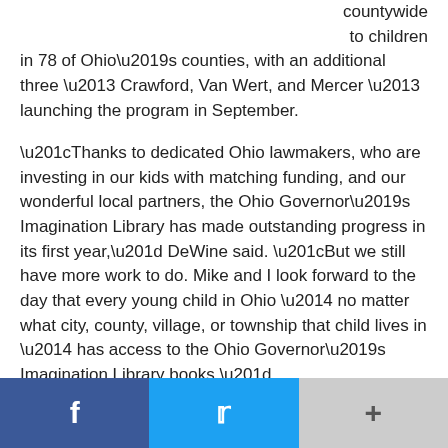countywide to children in 78 of Ohio’s counties, with an additional three – Crawford, Van Wert, and Mercer – launching the program in September.
“Thanks to dedicated Ohio lawmakers, who are investing in our kids with matching funding, and our wonderful local partners, the Ohio Governor’s Imagination Library has made outstanding progress in its first year,” DeWine said. “But we still have more work to do. Mike and I look forward to the day that every young child in Ohio — no matter what city, county, village, or township that child lives in — has access to the Ohio Governor’s Imagination Library books.”
Last summer, the Dolly Parton Imagination Library Program was available in pockets of Ohio when the Ohio Governor’s Imagination Library partnered with the Dolly Parton program. In August 2019, 93,483 children were enrolled. In September 2020 enrollment will more than double.
[Figure (other): Social sharing bar with Facebook (blue), Twitter (light blue), and a more/plus button (gray)]